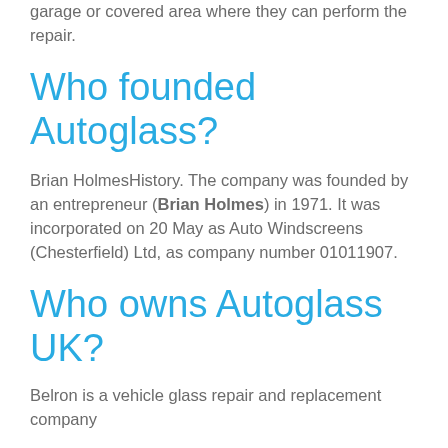garage or covered area where they can perform the repair.
Who founded Autoglass?
Brian HolmesHistory. The company was founded by an entrepreneur (Brian Holmes) in 1971. It was incorporated on 20 May as Auto Windscreens (Chesterfield) Ltd, as company number 01011907.
Who owns Autoglass UK?
Belron is a vehicle glass repair and replacement company...